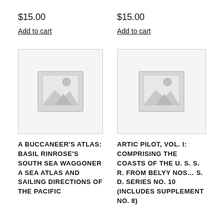$15.00
$15.00
Add to cart
Add to cart
[Figure (illustration): Placeholder product image with mountains and sun icon]
[Figure (illustration): Placeholder product image with mountains and sun icon]
A BUCCANEER'S ATLAS: BASIL RINROSE'S SOUTH SEA WAGGONER A SEA ATLAS AND SAILING DIRECTIONS OF THE PACIFIC
ARTIC PILOT, VOL. I: COMPRISING THE COASTS OF THE U. S. S. R. FROM BELYY NOS… S. D. SERIES NO. 10 (INCLUDES SUPPLEMENT NO. 8)